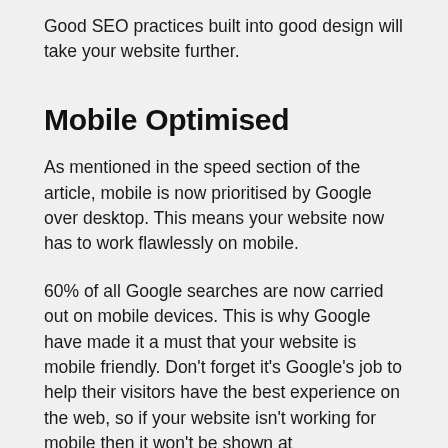Good SEO practices built into good design will take your website further.
Mobile Optimised
As mentioned in the speed section of the article, mobile is now prioritised by Google over desktop. This means your website now has to work flawlessly on mobile.
60% of all Google searches are now carried out on mobile devices. This is why Google have made it a must that your website is mobile friendly. Don't forget it's Google's job to help their visitors have the best experience on the web, so if your website isn't working for mobile then it won't be shown at